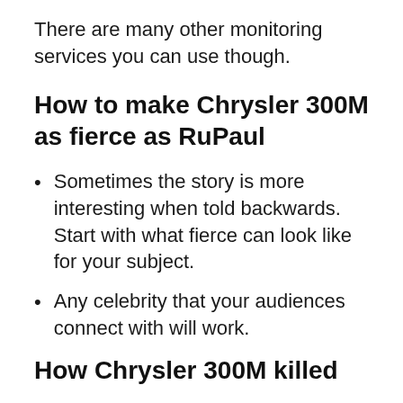There are many other monitoring services you can use though.
How to make Chrysler 300M as fierce as RuPaul
Sometimes the story is more interesting when told backwards. Start with what fierce can look like for your subject.
Any celebrity that your audiences connect with will work.
How Chrysler 300M killed